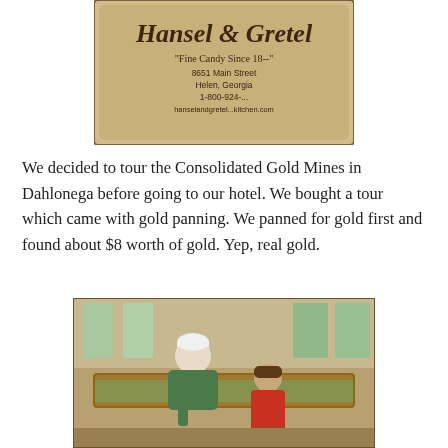[Figure (photo): Photo of a Hansel & Gretel candy bag with text 'Fine Candy Since 18--', 8651 Main Street, Helen, Georgia, 1-800-924-..., hanselandgretel...kitchen.com]
We decided to tour the Consolidated Gold Mines in Dahlonega before going to our hotel. We bought a tour which came with gold panning. We panned for gold first and found about $8 worth of gold. Yep, real gold.
[Figure (photo): Photo of a man and a young boy gold panning indoors at a water sluice trough, the boy is wearing an orange vest]